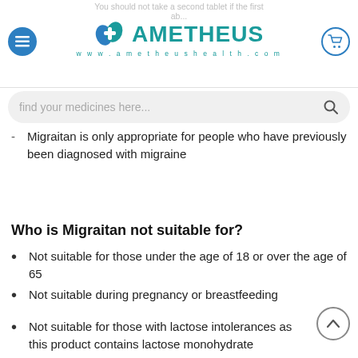You should not take a second tablet if the first ab... | AMETHEUS | www.ametheushealth.com
find your medicines here...
Migraitan is only appropriate for people who have previously been diagnosed with migraine
Who is Migraitan not suitable for?
Not suitable for those under the age of 18 or over the age of 65
Not suitable during pregnancy or breastfeeding
Not suitable for those with lactose intolerances as this product contains lactose monohydrate